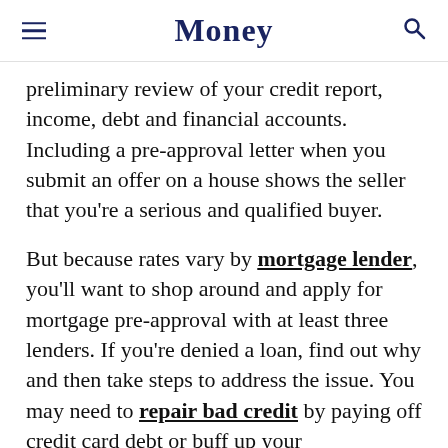Money
preliminary review of your credit report, income, debt and financial accounts. Including a pre-approval letter when you submit an offer on a house shows the seller that you're a serious and qualified buyer.
But because rates vary by mortgage lender, you'll want to shop around and apply for mortgage pre-approval with at least three lenders. If you're denied a loan, find out why and then take steps to address the issue. You may need to repair bad credit by paying off credit card debt or buff up your